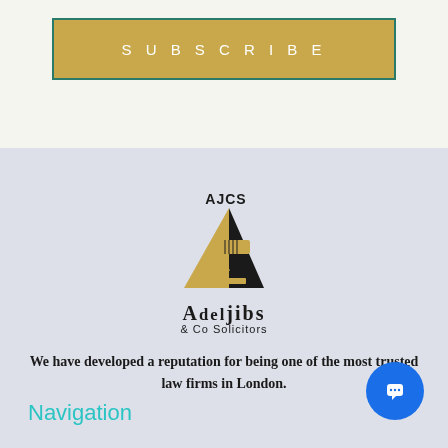SUBSCRIBE
[Figure (logo): AJCS Adeljibs & Co Solicitors logo with gavel and geometric shapes in gold and black]
We have developed a reputation for being one of the most trusted law firms in London.
Navigation